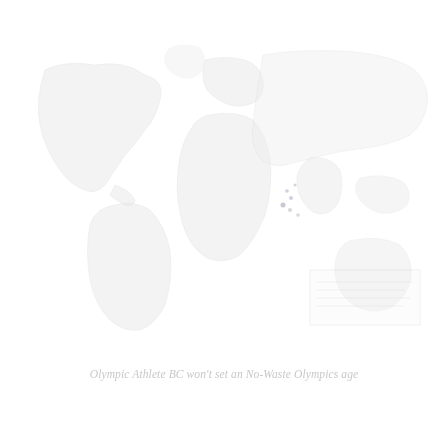[Figure (map): A very faint, washed-out world map showing continental outlines. The map is extremely light gray/white, nearly invisible. There appear to be a few small dark dots near the center-right area of the map (possibly indicating specific locations). A faint rectangular inset or legend box is visible in the lower-right area of the map.]
Olympic Athlete BC won't set an No-Waste Olympics age